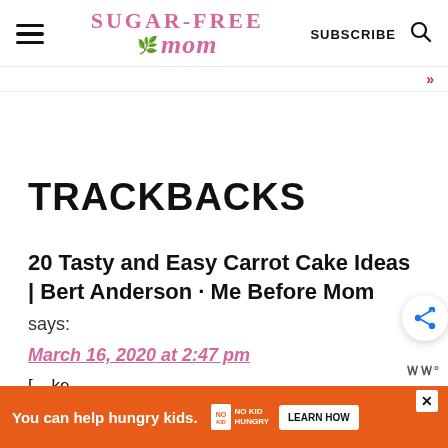SUGAR-FREE MOM
TRACKBACKS
20 Tasty and Easy Carrot Cake Ideas | Bert Anderson · Me Before Mom says:
March 16, 2020 at 2:47 pm
[Figure (other): Orange advertisement bar: You can help hungry kids. No Kid Hungry. LEARN HOW]
[...ke... S...]